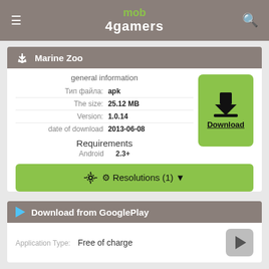mob4gamers
Marine Zoo
| Field | Value |
| --- | --- |
| Тип файла: | apk |
| The size: | 25.12 MB |
| Version: | 1.0.14 |
| date of download | 2013-06-08 |
Requirements
Android  2.3+
⚙ Resolutions (1) ▼
Download from GooglePlay
Application Type:  Free of charge